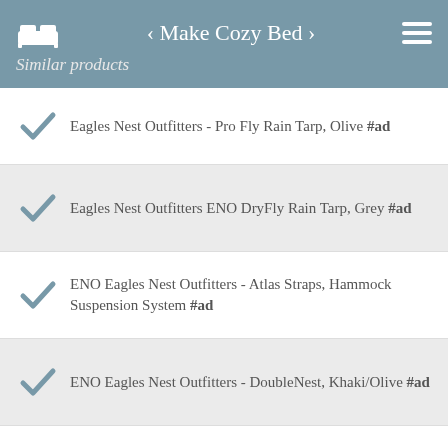< Make Cozy Bed >
Similar products
Eagles Nest Outfitters - Pro Fly Rain Tarp, Olive #ad
Eagles Nest Outfitters ENO DryFly Rain Tarp, Grey #ad
ENO Eagles Nest Outfitters - Atlas Straps, Hammock Suspension System #ad
ENO Eagles Nest Outfitters - DoubleNest, Khaki/Olive #ad
Eagles Nest Outfitters - Pro Fly Rain Tarp, Grey #ad
Eagles Nest Outfitters ENO Underbelly Gear Sling, Hammock Accessory, Charcoal #ad